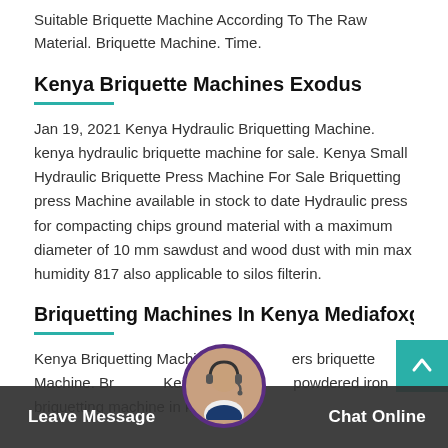Suitable Briquette Machine According To The Raw Material. Briquette Machine. Time.
Kenya Briquette Machines Exodus
Jan 19, 2021 Kenya Hydraulic Briquetting Machine. kenya hydraulic briquette machine for sale. Kenya Small Hydraulic Briquette Press Machine For Sale Briquetting press Machine available in stock to date Hydraulic press for compacting chips ground material with a maximum diameter of 10 mm sawdust and wood dust with min max humidity 817 also applicable to silos filterin.
Briquetting Machines In Kenya Mediafoxgroup.Fr
Kenya Briquetting Machines briquette Machine. Briquette Kenya In Kis powdered iron briquetting machine in kenya
Leave Message   Chat Online